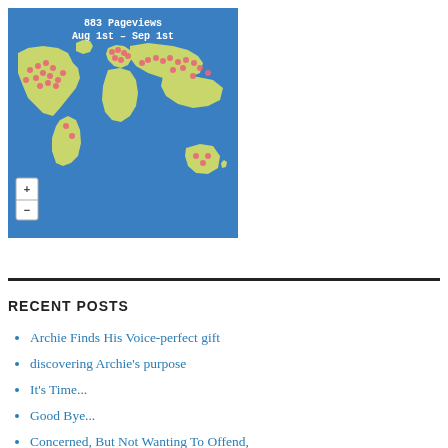[Figure (map): World map showing 883 pageviews from Aug 1st to Sep 1st, with pink/red dot markers concentrated in North America, Europe, and scattered across Asia-Pacific and South America. Blue ocean background with green-yellow landmasses. Zoom +/- controls in lower left.]
RECENT POSTS
Archie Finds His Voice-perfect gift
discovering Archie's purpose
It's Time...
Good Bye...
Concerned, But Not Wanting To Offend,